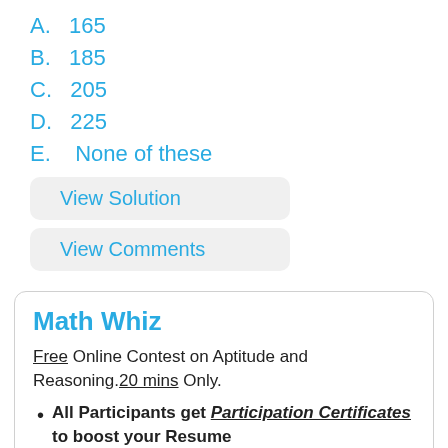A.  165
B.  185
C.  205
D.  225
E.  None of these
View Solution
View Comments
Math Whiz
Free Online Contest on Aptitude and Reasoning.20 mins Only.
All Participants get Participation Certificates to boost your Resume
Participation Now using Laptop/ Desktop/ Tab/ Mobile.